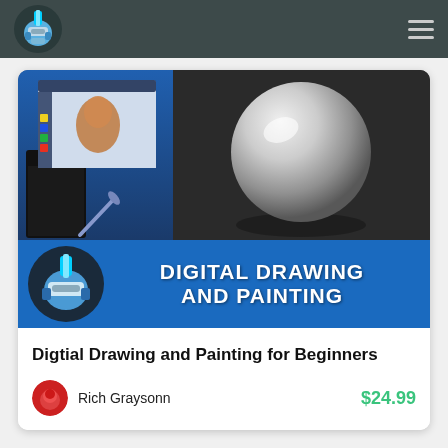Digital Drawing and Painting — navigation header with logo and hamburger menu
[Figure (screenshot): Course banner image: left half shows a digital art software screenshot with a character being painted; right half shows a 3D rendered white sphere on dark background]
[Figure (logo): Blue channel banner with robot/helmet logo on left and text 'DIGITAL DRAWING AND PAINTING' on right in white bold uppercase letters]
Digtial Drawing and Painting for Beginners
Rich Graysonn
$24.99